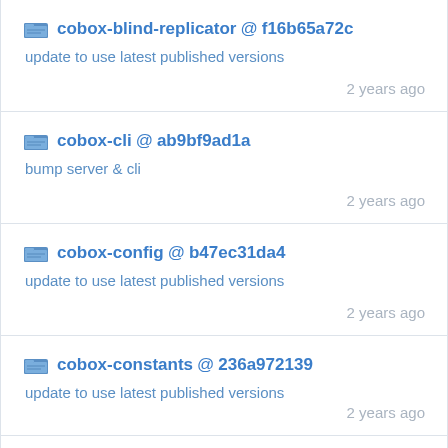cobox-blind-replicator @ f16b65a72c
update to use latest published versions
2 years ago
cobox-cli @ ab9bf9ad1a
bump server & cli
2 years ago
cobox-config @ b47ec31da4
update to use latest published versions
2 years ago
cobox-constants @ 236a972139
update to use latest published versions
2 years ago